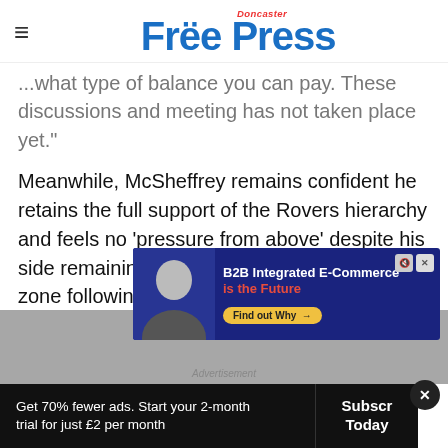Doncaster Free Press
...what type of balance you can pay. These discussions and meeting has not taken place yet."
Meanwhile, McSheffrey remains confident he retains the full support of the Rovers hierarchy and feels no 'pressure from above' despite his side remaining entrenched in the relegation zone following his promotion to full-time mana...
[Figure (screenshot): Advertisement banner: B2B Integrated E-Commerce is the Future, with a Find out Why button]
Get 70% fewer ads. Start your 2-month trial for just £2 per month
Subscribe Today